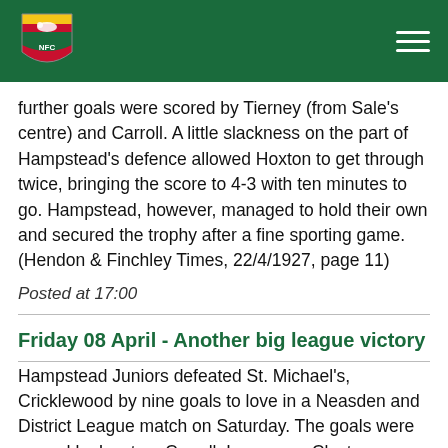Hendon FC header with logo and navigation menu
further goals were scored by Tierney (from Sale's centre) and Carroll. A little slackness on the part of Hampstead's defence allowed Hoxton to get through twice, bringing the score to 4-3 with ten minutes to go. Hampstead, however, managed to hold their own and secured the trophy after a fine sporting game. (Hendon & Finchley Times, 22/4/1927, page 11)
Posted at 17:00
Friday 08 April - Another big league victory
Hampstead Juniors defeated St. Michael's, Cricklewood by nine goals to love in a Neasden and District League match on Saturday. The goals were scored by Lowton, Carroll, Lawrence, Clayton, Smith, Dellow and Hoskins [, plus two unknown.] (Hendon & Finchley Times